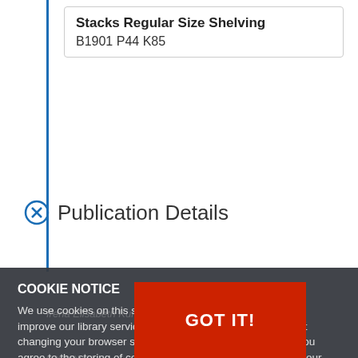Stacks Regular Size Shelving
B1901 P44 K85
Publication Details
Irena Elisabeth Kummar
Format(s)
PUBLICATION
1. Auflage
Gerlinn W-12 ran rue Oylen, 1978
PHYSICAL DETAILS
x, 391 pages : ill. ; 23 cm
COOKIE NOTICE
We use cookies on this site to enhance your experience and improve our library services. By continuing to browse without changing your browser settings to block or delete cookies, you agree to the storing of cookies and related technologies on your device. UW–Madison Privacy Notice
GOT IT!